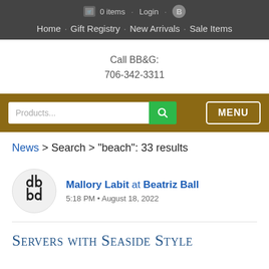0 items · Login · B
Home · Gift Registry · New Arrivals · Sale Items
Call BB&G:
706-342-3311
Products... [search] MENU
News > Search > "beach": 33 results
Mallory Labit at Beatriz Ball
5:18 PM • August 18, 2022
Servers with Seaside Style